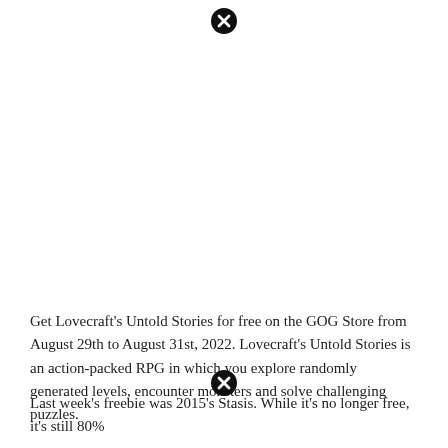[Figure (other): Close/dismiss button icon (circle with X) at top center]
Get Lovecraft's Untold Stories for free on the GOG Store from August 29th to August 31st, 2022. Lovecraft's Untold Stories is an action-packed RPG in which you explore randomly generated levels, encounter monsters and solve challenging puzzles.
[Figure (other): Close/dismiss button icon (circle with X) at bottom center]
Last week's freebie was 2015's Stasis. While it's no longer free, it's still 80%